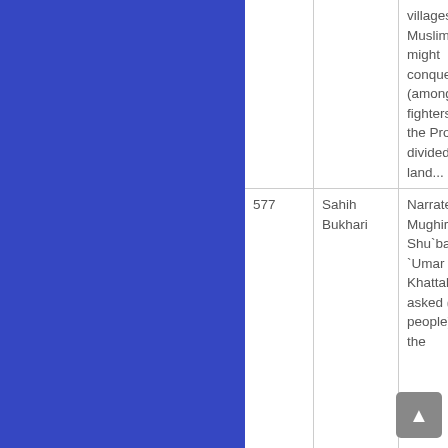|  |  |  |
| --- | --- | --- |
|  |  | villages the Muslims might conquer (among the fighters), a the Prophe divided (th land... |
| 577 | Sahih Bukhari | Narrated Al-Mughira bin Shu`ba: `Umar bin Al-Khattab asked (the people) about the ... |